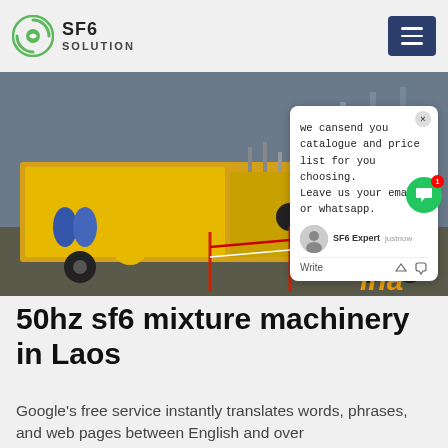SF6 SOLUTION
[Figure (photo): Yellow SF6 service truck with equipment at an electrical substation. Two workers visible. Red and white safety barriers. Industrial machinery and cylinders on truck bed. Chat popup overlay visible with text: 'we cansend you catalogue and price list for you choosing. Leave us your email or whatsapp.']
50hz sf6 mixture machinery in Laos
Google's free service instantly translates words, phrases, and web pages between English and over